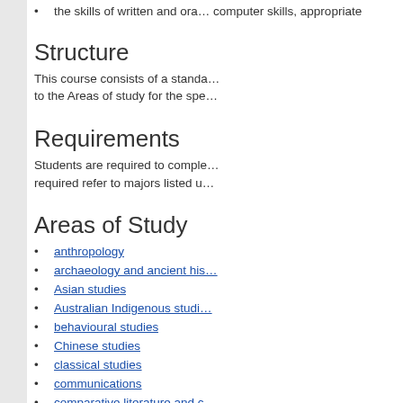the skills of written and oral… computer skills, appropriate
Structure
This course consists of a standa… to the Areas of study for the spe…
Requirements
Students are required to comple… required refer to majors listed u…
Areas of Study
anthropology
archaeology and ancient his…
Asian studies
Australian Indigenous studi…
behavioural studies
Chinese studies
classical studies
communications
comparative literature and c…
criminology
drama and theatre studies